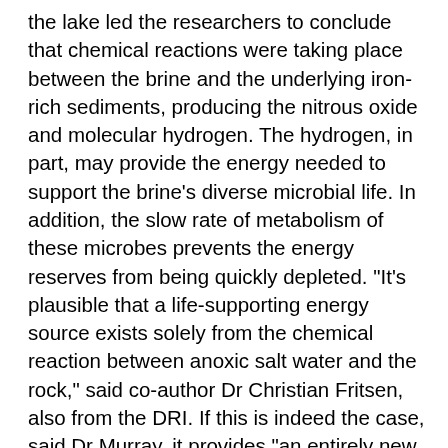the lake led the researchers to conclude that chemical reactions were taking place between the brine and the underlying iron-rich sediments, producing the nitrous oxide and molecular hydrogen. The hydrogen, in part, may provide the energy needed to support the brine's diverse microbial life. In addition, the slow rate of metabolism of these microbes prevents the energy reserves from being quickly depleted. "It's plausible that a life-supporting energy source exists solely from the chemical reaction between anoxic salt water and the rock," said co-author Dr Christian Fritsen, also from the DRI. If this is indeed the case, said Dr Murray, it provides "an entirely new framework for thinking of how life can be supported in cryo-ecosystems on Earth and in other icy worlds of the Universe". Dr Ellis-Evans commented: "If you go to somewhere like Europa, this sort of finding is really of interest. You can apply this more or less directly. He pointed to recent evidence that pockets of slushy ice and liquid water might also persist in Europa's ice shell: "That would be just the sort of system we're talking about here, with limited connections to the outside world," he said. The PNAS report's publication comes as scientists fly out of the UK to join an effort to drill through the 3km of ice covering